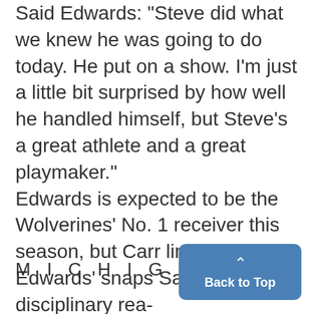Said Edwards: "Steve did what we knew he was going to do today. He put on a show. I'm just a little bit surprised by how well he handled himself, but Steve's a great athlete and a great playmaker." Edwards is expected to be the Wolverines' No. 1 receiver this season, but Carr limited Edwards' snaps Saturday for disciplinary rea-
MICHIGAN